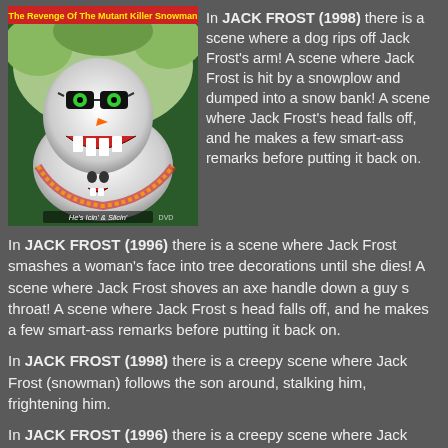[Figure (photo): DVD cover of 'The Revenge of The Mutant Killer Snowman' showing a scary snowman with sharp teeth, black sunglasses, green eyes, and a flower lei, with tagline 'He's Icin' & Slicin'' and a DVD logo.]
In JACK FROST (1998) there is a scene where a dog rips off Jack Frost's arm! A scene where Jack Frost is hit by a snowplow and dumped into a snow bank! A scene where Jack Frost's head falls off, and he makes a few smart-ass remarks before putting it back on.
In JACK FROST (1996) there is a scene where Jack Frost smashes a woman's face into tree decorations until she dies! A scene where Jack Frost shoves an axe handle down a guy s throat! A scene where Jack Frost s head falls off, and he makes a few smart-ass remarks before putting it back on.
In JACK FROST (1998) there is a creepy scene where Jack Frost (snowman) follows the son around, stalking him, frightening him.
In JACK FROST (1996) there is a creepy scene where Jack Frost (snowman) follows the son around, stalking him,